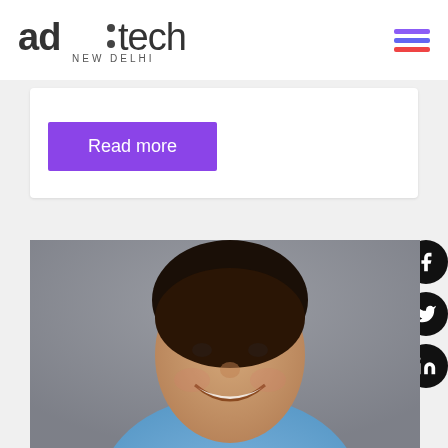[Figure (logo): ad:tech NEW DELHI logo in dark gray with hamburger menu icon on right (colored lines: purple, indigo, red)]
Read more
[Figure (photo): Smiling man in blue shirt against gray background, with Facebook, Twitter, and LinkedIn social icons on the right side]